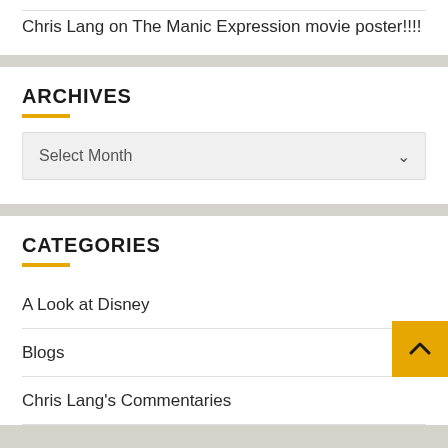Chris Lang on The Manic Expression movie poster!!!!
ARCHIVES
Select Month
CATEGORIES
A Look at Disney
Blogs
Chris Lang's Commentaries